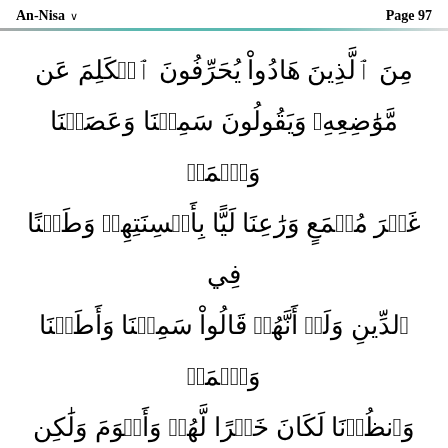An-Nisa   Page 97
مِنَ ٱلَّذِينَ هَادُواْ يُحَرِّفُونَ ٱلۡكَلِمَ عَن مَّوَٰضِعِهِۦ وَيَقُولُونَ سَمِعۡنَا وَعَصَيۡنَا وَٱسۡمَعۡ غَيۡرَ مُسۡمَعٖ وَرَٰعِنَا لَيَّۢا بِأَلۡسِنَتِهِمۡ وَطَعۡنٗا فِي ٱلدِّينِۚ وَلَوۡ أَنَّهُمۡ قَالُواْ سَمِعۡنَا وَأَطَعۡنَا وَٱسۡمَعۡ وَٱنظُرۡنَا لَكَانَ خَيۡرٗا لَّهُمۡ وَأَقۡوَمَ وَلَٰكِن لَّعَنَهُمُ ٱللَّهُ بِكُفۡرِهِمۡ فَلَا يُؤۡمِنُونَ إِلَّا قَلِيلٗا ۞ ٤٦